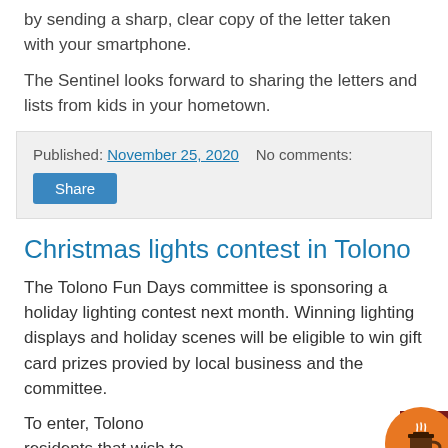by sending a sharp, clear copy of the letter taken with your smartphone.
The Sentinel looks forward to sharing the letters and lists from kids in your hometown.
Published: November 25, 2020   No comments:
Share
Christmas lights contest in Tolono
The Tolono Fun Days committee is sponsoring a holiday lighting contest next month. Winning lighting displays and holiday scenes will be eligible to win gift card prizes provied by local business and the committee.
To enter, Tolono residents that wish to participate in
[Figure (other): Dark red banner with white text 'Latest news from' and a circular orange coffee cup icon button overlaid on the right side]